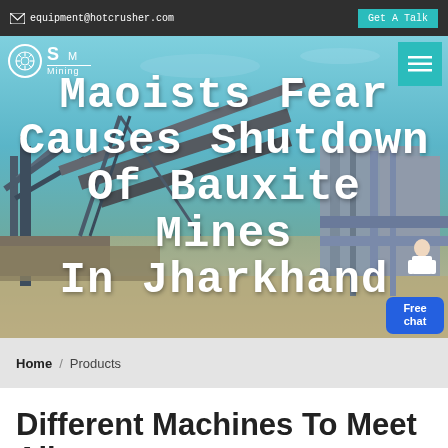equipment@hotcrusher.com  |  Get A Talk
[Figure (photo): Industrial mining conveyor belt facility with blue sky background, hero banner image]
Maoists Fear Causes Shutdown Of Bauxite Mines In Jharkhand
Home / Products
Different Machines To Meet All